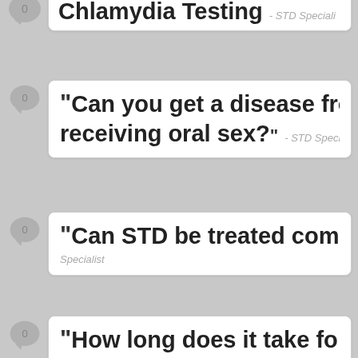Chlamydia Testing - STD Specialist
“Can you get a disease from receiving oral sex?” - STD Specialist
“Can STD be treated com... Specialist
“How long does it take for...